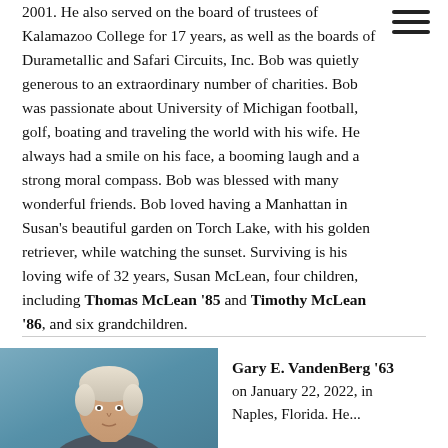2001. He also served on the board of trustees of Kalamazoo College for 17 years, as well as the boards of Durametallic and Safari Circuits, Inc. Bob was quietly generous to an extraordinary number of charities. Bob was passionate about University of Michigan football, golf, boating and traveling the world with his wife. He always had a smile on his face, a booming laugh and a strong moral compass. Bob was blessed with many wonderful friends. Bob loved having a Manhattan in Susan's beautiful garden on Torch Lake, with his golden retriever, while watching the sunset. Surviving is his loving wife of 32 years, Susan McLean, four children, including Thomas McLean '85 and Timothy McLean '86, and six grandchildren.
[Figure (photo): Portrait photograph of Gary E. VandenBerg, showing an elderly person with light hair against a blue/grey background]
Gary E. VandenBerg '63 on January 22, 2022, in Naples, Florida. He...